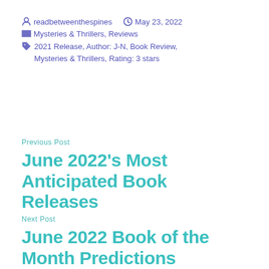readbetweenthespines   May 23, 2022
Mysteries & Thrillers, Reviews
2021 Release, Author: J-N, Book Review, Mysteries & Thrillers, Rating: 3 stars
Previous Post
June 2022's Most Anticipated Book Releases
Next Post
June 2022 Book of the Month Predictions